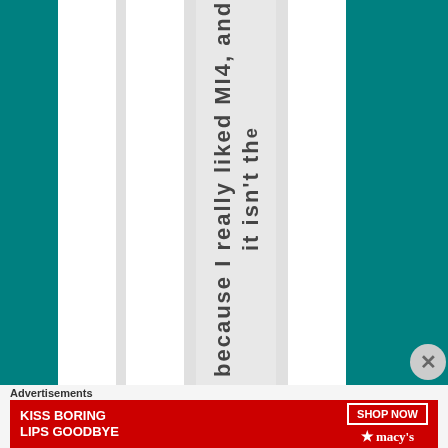because I really liked MI4, and it isn't the
Advertisements
[Figure (infographic): Macy's advertisement banner with red background, text 'KISS BORING LIPS GOODBYE', 'SHOP NOW' button, and Macy's star logo]